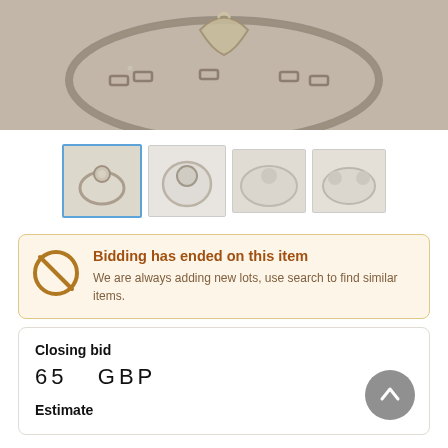[Figure (photo): Main product photo of silver jewellery (necklace/bracelet) on a light surface]
[Figure (photo): Four thumbnail images of silver jewellery items; first thumbnail is selected with blue border]
Bidding has ended on this item
We are always adding new lots, use search to find similar items.
Closing bid
65   GBP
Estimate